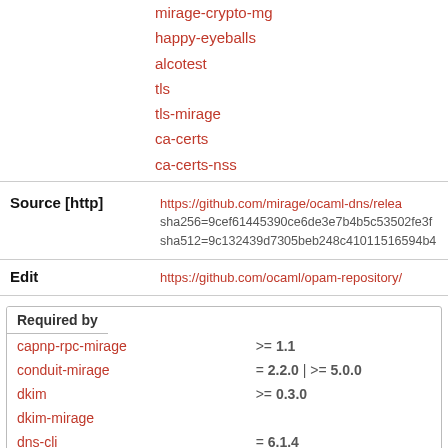mirage-crypto-mg
happy-eyeballs
alcotest
tls
tls-mirage
ca-certs
ca-certs-nss
Source [http]  https://github.com/mirage/ocaml-dns/relea  sha256=9cef61445390ce6de3e7b4b5c53502fe3f  sha512=9c132439d7305beb248c41011516594b4
Edit  https://github.com/ocaml/opam-repository/
| Package | Version |
| --- | --- |
| capnp-rpc-mirage | >= 1.1 |
| conduit-mirage | = 2.2.0 | >= 5.0.0 |
| dkim | >= 0.3.0 |
| dkim-mirage |  |
| dns-cli | = 6.1.4 |
| dns-stub | = 6.1.4 |